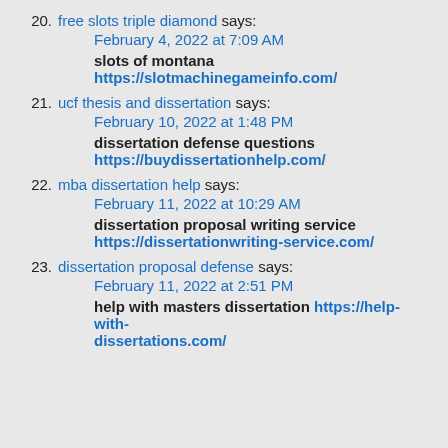20. free slots triple diamond says: February 4, 2022 at 7:09 AM slots of montana https://slotmachinegameinfo.com/
21. ucf thesis and dissertation says: February 10, 2022 at 1:48 PM dissertation defense questions https://buydissertationhelp.com/
22. mba dissertation help says: February 11, 2022 at 10:29 AM dissertation proposal writing service https://dissertationwriting-service.com/
23. dissertation proposal defense says: February 11, 2022 at 2:51 PM help with masters dissertation https://help-with-dissertations.com/